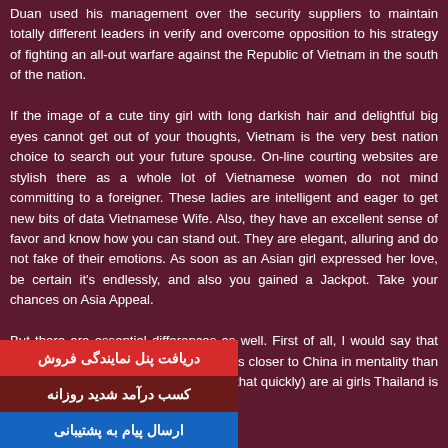Duan used his management over the security suppliers to maintain totally different leaders in verify and overcome opposition to his strategy of fighting an all-out warfare against the Republic of Vietnam in the south of the nation.

If the image of a cute tiny girl with long darkish hair and delightful big eyes cannot get out of your thoughts, Vietnam is the very best nation choice to search out your future spouse. On-line courting websites are stylish there as a whole lot of Vietnamese women do not mind committing to a foreigner. These ladies are intelligent and eager to get new bits of data Vietnamese Wife. Also, they have an excellent sense of favor and know how you can stand out. They are elegant, alluring and do not fake of their emotions. As soon as an Asian girl expressed her love, be certain it's endlessly, and also you gained a Jackpot. Take your chances on Asia Appeal.

But there are essential differences as well. First of all, I would say that Vietnam (especially the northern part) is closer to China in mentality than to its ts. Vietnamese women (extra on that quickly) are ai girls Thailand is a more developed nation than
دریافت پنل نمایندگی فروش
کسب درآمد شدید روزانه
ارسال پیام به پشتیبانی